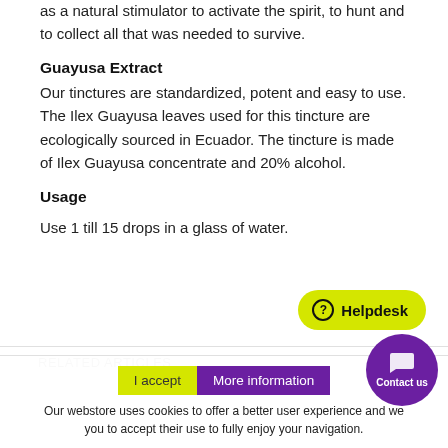as a natural stimulator to activate the spirit, to hunt and to collect all that was needed to survive.
Guayusa Extract
Our tinctures are standardized, potent and easy to use. The Ilex Guayusa leaves used for this tincture are ecologically sourced in Ecuador. The tincture is made of Ilex Guayusa concentrate and 20% alcohol.
Usage
Use 1 till 15 drops in a glass of water.
Helpdesk
RELATED ARTICLES
I accept   More information
Our webstore uses cookies to offer a better user experience and we recommend you to accept their use to fully enjoy your navigation.
Contact us